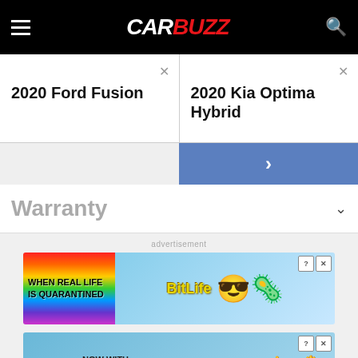CARBUZZ
2020 Ford Fusion
2020 Kia Optima Hybrid
Warranty
[Figure (screenshot): BitLife advertisement banner: rainbow graphic on left, text 'WHEN REAL LIFE IS QUARANTINED' with BitLife logo and emoji character wearing a mask, close buttons top right]
[Figure (screenshot): BitLife advertisement banner: 'BITLIFE NOW WITH GOD MODE' text with lightning bolt, pointing hand emoji, close buttons top right]